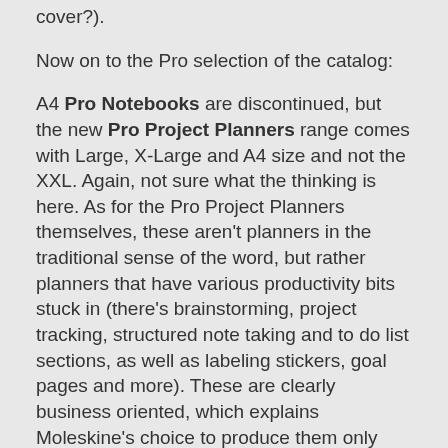cover?).
Now on to the Pro selection of the catalog:
A4 Pro Notebooks are discontinued, but the new Pro Project Planners range comes with Large, X-Large and A4 size and not the XXL. Again, not sure what the thinking is here. As for the Pro Project Planners themselves, these aren't planners in the traditional sense of the word, but rather planners that have various productivity bits stuck in (there's brainstorming, project tracking, structured note taking and to do list sections, as well as labeling stickers, goal pages and more). These are clearly business oriented, which explains Moleskine's choice to produce them only with black covers.
Others:
The City Notebooks Pocket Box is no longer available. I imagine that it wasn't popular enough for them to keep